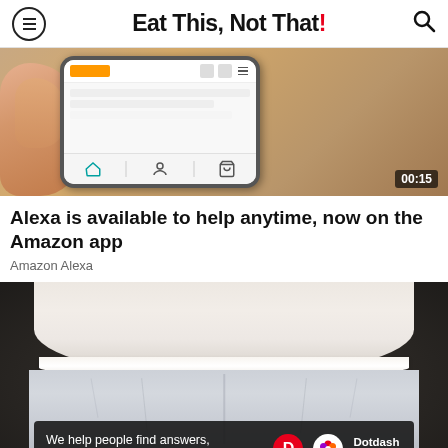Eat This, Not That!
[Figure (photo): Video thumbnail showing a hand holding a smartphone displaying the Amazon app, with a timer showing 00:15]
Alexa is available to help anytime, now on the Amazon app
Amazon Alexa
[Figure (photo): Close-up photo of a white shirt lifted up showing the waistband of light blue pants, with a Dotdash Meredith banner at the bottom reading 'We help people find answers, solve problems and get inspired.']